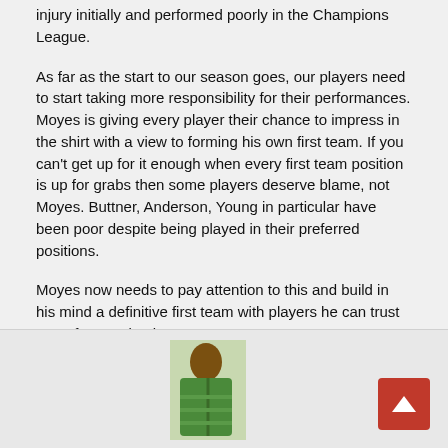injury initially and performed poorly in the Champions League.
As far as the start to our season goes, our players need to start taking more responsibility for their performances. Moyes is giving every player their chance to impress in the shirt with a view to forming his own first team. If you can't get up for it enough when every first team position is up for grabs then some players deserve blame, not Moyes. Buttner, Anderson, Young in particular have been poor despite being played in their preferred positions.
Moyes now needs to pay attention to this and build in his mind a definitive first team with players he can trust to perform as back up.
[Figure (photo): Photo of a person wearing a green and white striped shirt, partially visible at bottom of page. A red scroll-to-top button with an upward arrow is in the bottom right corner.]